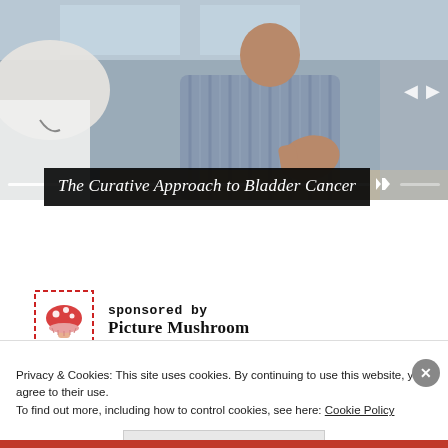[Figure (photo): A doctor consulting with a patient in a medical office setting. The patient is a man in a blue striped shirt gesturing with his hand. The background shows medical office furniture.]
The Curative Approach to Bladder Cancer
sponsored by
Picture Mushroom
Privacy & Cookies: This site uses cookies. By continuing to use this website, you agree to their use.
To find out more, including how to control cookies, see here: Cookie Policy
Close and accept